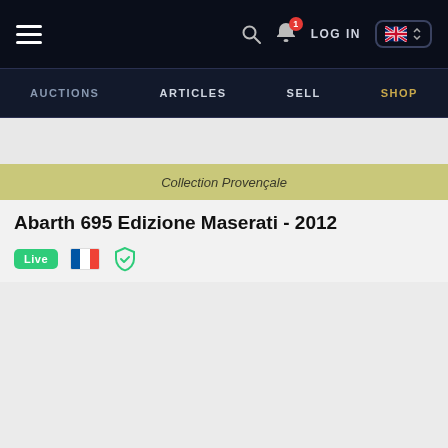Navigation bar with hamburger menu, search, bell notification (1), LOG IN, language selector (UK English)
AUCTIONS  ARTICLES  SELL  SHOP
[Figure (other): Grey advertisement banner area]
Collection Provençale
Abarth 695 Edizione Maserati - 2012
Live | French flag | Verified shield icon